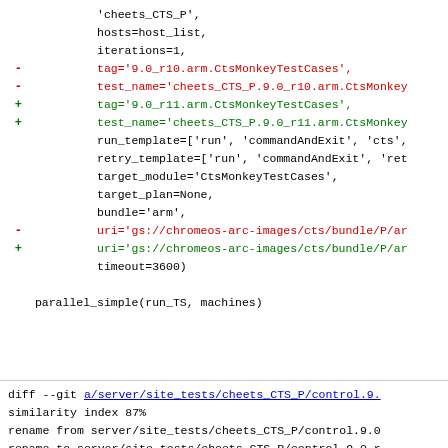Code diff showing changes to cheets_CTS_P control file, including tag and test_name version bumps from r10 to r11, URI updates, and file rename metadata.
parallel_simple(run_TS, machines)
diff --git a/server/site_tests/cheets_CTS_P/control.9. similarity index 87% rename from server/site_tests/cheets_CTS_P/control.9.0 rename to server/site_tests/cheets_CTS_P/control.9.0_r